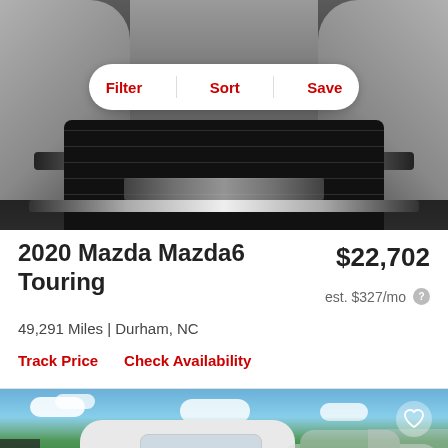[Figure (photo): Close-up front grille of a dark gray Mazda vehicle]
Filter | Sort | Save
2020 Mazda Mazda6 Touring
$22,702
est. $327/mo
49,291 Miles | Durham, NC
Track Price   Check Availability
[Figure (photo): White Mazda sedan in an outdoor dealership lot with blue sky and trees in background]